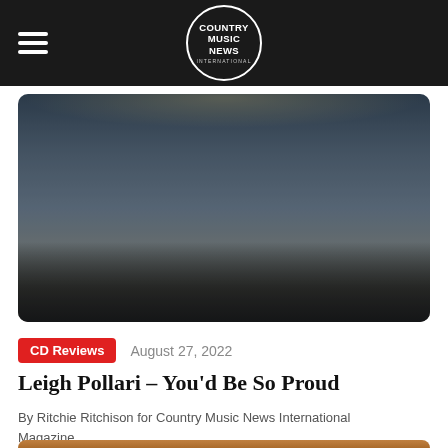COUNTRY MUSIC NEWS INTERNATIONAL
[Figure (photo): A woman in a red off-shoulder top standing next to a vintage black pickup truck on a town street at night with string lights overhead and an American flag]
CD Reviews   August 27, 2022
Leigh Pollari – You'd Be So Proud
By Ritchie Ritchison for Country Music News International Magazine
[Figure (photo): Partial view of a wooden surface with a dark horse figurine and red flowers]